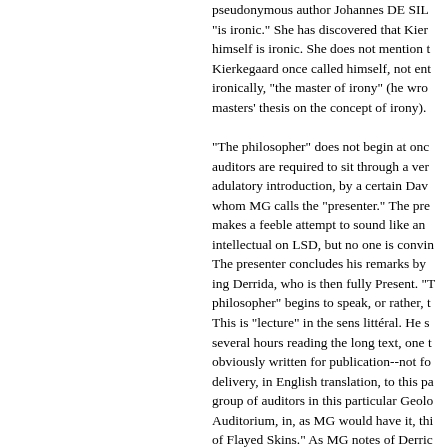pseudonymous author Johannes DE SILE "is ironic." She has discovered that Kierkegaard himself is ironic. She does not mention that Kierkegaard once called himself, not entirely ironically, "the master of irony" (he wrote his masters' thesis on the concept of irony).

"The philosopher" does not begin at once; auditors are required to sit through a very adulatory introduction, by a certain David, whom MG calls the "presenter." The presenter makes a feeble attempt to sound like an intellectual on LSD, but no one is convinced. The presenter concludes his remarks by introducing Derrida, who is then fully Present. "The philosopher" begins to speak, or rather, to read. This is "lecture" in the sens littéral. He spends several hours reading the long text, one that is obviously written for publication--not for oral delivery, in English translation, to this particular group of auditors in this particular Geological Auditorium, in, as MG would have it, this city of Flayed Skins." As MG notes of Derrida at one point, "I have listened to him intently for years." The audience knew the feeling very well that night. Even MG shows some awareness